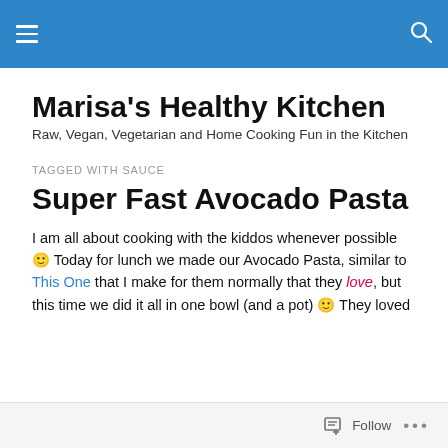Marisa's Healthy Kitchen [navigation bar]
Marisa's Healthy Kitchen
Raw, Vegan, Vegetarian and Home Cooking Fun in the Kitchen
TAGGED WITH SAUCE
Super Fast Avocado Pasta
I am all about cooking with the kiddos whenever possible 🙂 Today for lunch we made our Avocado Pasta, similar to This One that I make for them normally that they love, but this time we did it all in one bowl (and a pot) 🙂 They loved
Follow ...